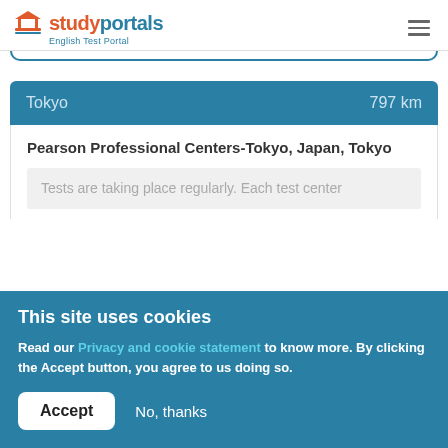studyportals English Test Portal
Tokyo  797 km
Pearson Professional Centers-Tokyo, Japan, Tokyo
Tests are taking place regularly. Each test center
This site uses cookies
Read our Privacy and cookie statement to know more. By clicking the Accept button, you agree to us doing so.
Accept  No, thanks